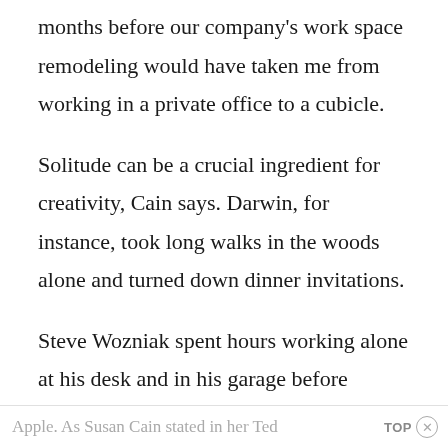months before our company's work space remodeling would have taken me from working in a private office to a cubicle.
Solitude can be a crucial ingredient for creativity, Cain says. Darwin, for instance, took long walks in the woods alone and turned down dinner invitations.
Steve Wozniak spent hours working alone at his desk and in his garage before teaming up with Steve Jobs to launch
Apple. As Susan Cain stated in her Ted